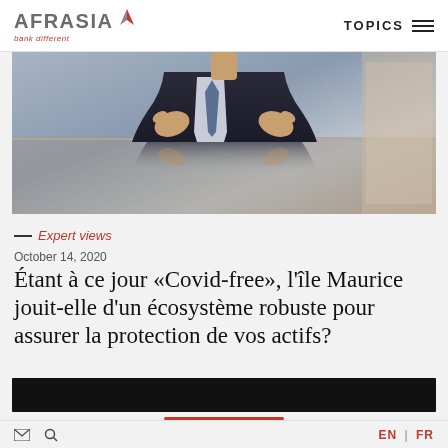AFRASIA bank different | TOPICS
[Figure (photo): Business person in suit and tie sitting at a reflective table with hands gesturing, shot from chest level]
— Expert views
October 14, 2020
Étant à ce jour «Covid-free», l'île Maurice jouit-elle d'un écosystème robuste pour assurer la protection de vos actifs?
[Figure (other): Black media player bar with red progress indicator]
EN | FR